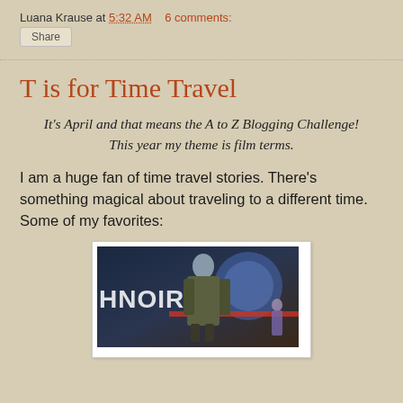Luana Krause at 5:32 AM   6 comments:
Share
T is for Time Travel
It's April and that means the A to Z Blogging Challenge! This year my theme is film terms.
I am a huge fan of time travel stories. There's something magical about traveling to a different time. Some of my favorites:
[Figure (photo): A man in a military-style jacket standing in front of a sign reading HNOIR, with a blue circular background element and a smaller figure visible to the right.]